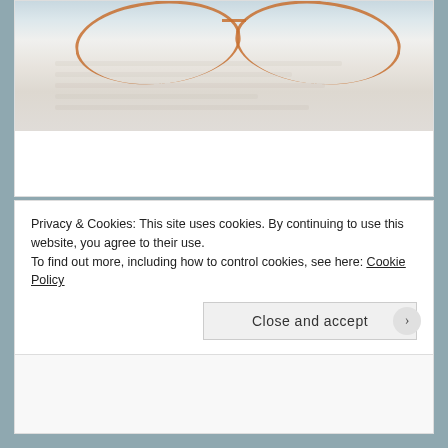[Figure (photo): Photograph of glasses resting on a light wooden surface with handwritten text, colors of beige and gray-blue]
DPCHALLENGE, FLOWER, PHOTOGRAPHY, PURE, UNCATEGORIZED, WHITE FLOWERS
Privacy & Cookies: This site uses cookies. By continuing to use this website, you agree to their use.
To find out more, including how to control cookies, see here: Cookie Policy
Close and accept